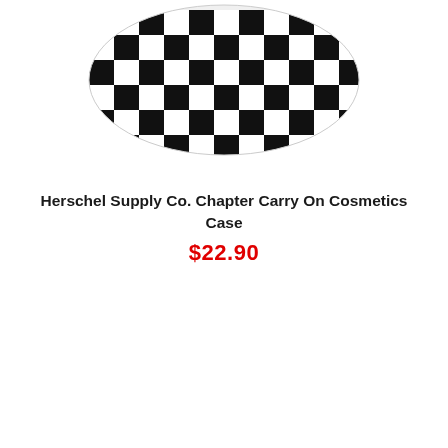[Figure (photo): A black and white checkered cosmetics case (Herschel Supply Co. Chapter Carry On), shown from a top-angled view, partially cropped at the top of the image.]
Herschel Supply Co. Chapter Carry On Cosmetics Case
$22.90